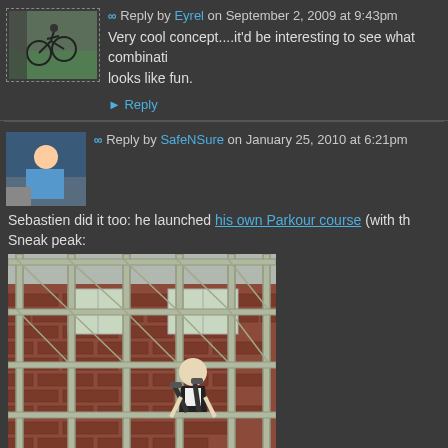Reply by Eyrel on September 2, 2009 at 9:43pm
Very cool concept....it'd be interesting to see what combinati... looks like fun.
Reply
Reply by SafeNSure on January 25, 2010 at 6:21pm
Sebastien did it too: he launched his own Parkour course (with th... Sneak peak:
[Figure (photo): Person performing parkour on a metal scaffolding structure against a brick building background]